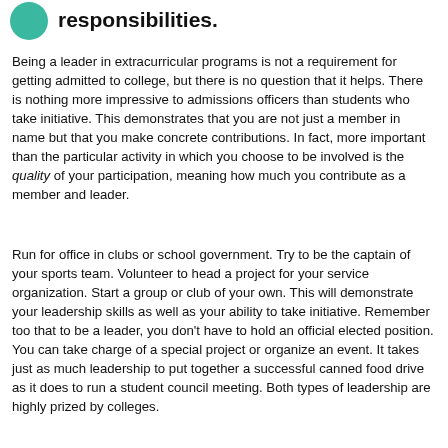responsibilities.
Being a leader in extracurricular programs is not a requirement for getting admitted to college, but there is no question that it helps. There is nothing more impressive to admissions officers than students who take initiative. This demonstrates that you are not just a member in name but that you make concrete contributions. In fact, more important than the particular activity in which you choose to be involved is the quality of your participation, meaning how much you contribute as a member and leader.
Run for office in clubs or school government. Try to be the captain of your sports team. Volunteer to head a project for your service organization. Start a group or club of your own. This will demonstrate your leadership skills as well as your ability to take initiative. Remember too that to be a leader, you don't have to hold an official elected position. You can take charge of a special project or organize an event. It takes just as much leadership to put together a successful canned food drive as it does to run a student council meeting. Both types of leadership are highly prized by colleges.